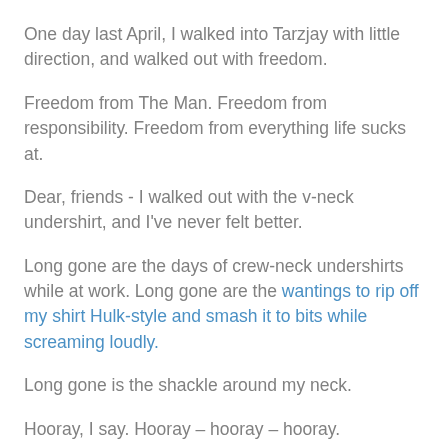One day last April, I walked into Tarzjay with little direction, and walked out with freedom.
Freedom from The Man. Freedom from responsibility. Freedom from everything life sucks at.
Dear, friends - I walked out with the v-neck undershirt, and I've never felt better.
Long gone are the days of crew-neck undershirts while at work. Long gone are the wantings to rip off my shirt Hulk-style and smash it to bits while screaming loudly.
Long gone is the shackle around my neck.
Hooray, I say. Hooray – hooray – hooray.
I am free… I am free… I am free.
(Now work is more like a non-work day, except that I still have to go into the office, but still do similar things to when